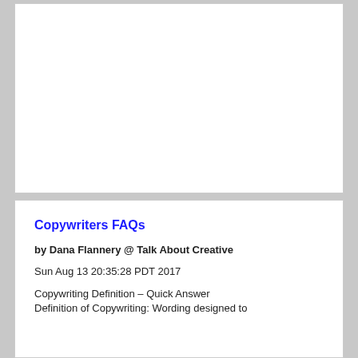[Figure (other): Empty white card/box region at the top of the page]
Copywriters FAQs
by Dana Flannery @ Talk About Creative
Sun Aug 13 20:35:28 PDT 2017
Copywriting Definition – Quick Answer Definition of Copywriting: Wording designed to